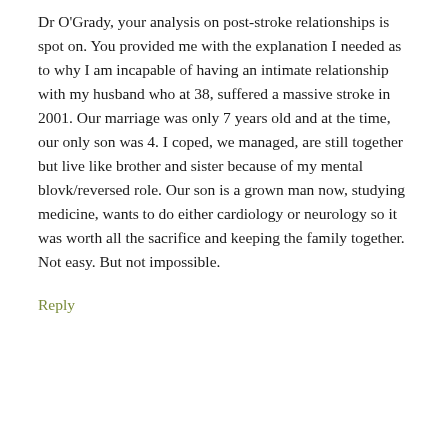Dr O'Grady, your analysis on post-stroke relationships is spot on. You provided me with the explanation I needed as to why I am incapable of having an intimate relationship with my husband who at 38, suffered a massive stroke in 2001. Our marriage was only 7 years old and at the time, our only son was 4. I coped, we managed, are still together but live like brother and sister because of my mental blovk/reversed role. Our son is a grown man now, studying medicine, wants to do either cardiology or neurology so it was worth all the sacrifice and keeping the family together. Not easy. But not impossible.
Reply